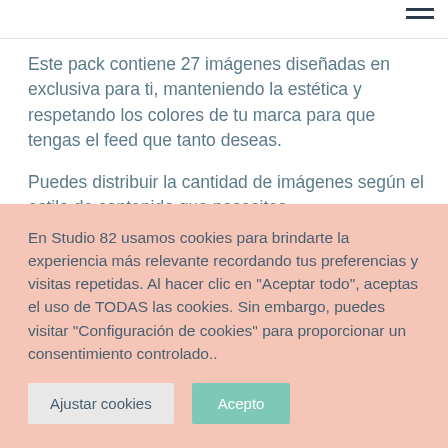Este pack contiene 27 imágenes diseñadas en exclusiva para ti, manteniendo la estética y respetando los colores de tu marca para que tengas el feed que tanto deseas.
Puedes distribuir la cantidad de imágenes según el estilo de contenido que necesites.
En Studio 82 usamos cookies para brindarte la experiencia más relevante recordando tus preferencias y visitas repetidas. Al hacer clic en "Aceptar todo", aceptas el uso de TODAS las cookies. Sin embargo, puedes visitar "Configuración de cookies" para proporcionar un consentimiento controlado..